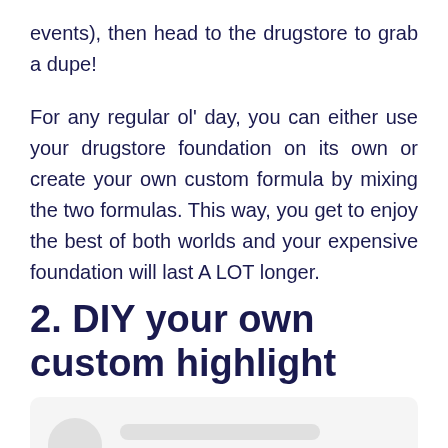events), then head to the drugstore to grab a dupe!
For any regular ol' day, you can either use your drugstore foundation on its own or create your own custom formula by mixing the two formulas. This way, you get to enjoy the best of both worlds and your expensive foundation will last A LOT longer.
2. DIY your own custom highlight
[Figure (other): A placeholder social media card with a circular avatar on the left and two horizontal rounded rectangle lines on the right, on a light grey background.]